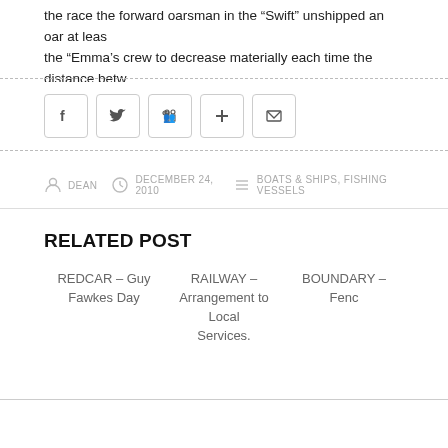the race the forward oarsman in the “Swift” unshipped an oar at least the “Emma’s crew to decrease materially each time the distance betw
[Figure (other): Social sharing buttons: Facebook (f), Twitter bird, LinkedIn people icon, Google+ plus, Email envelope]
DEAN   DECEMBER 24, 2010   BOATS & SHIPS, FISHING VESSELS
RELATED POST
REDCAR – Guy Fawkes Day
RAILWAY – Arrangement to Local Services.
BOUNDARY – Fenc